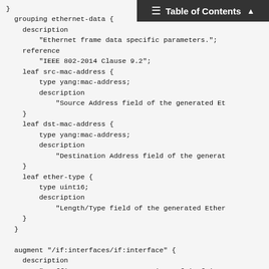Table of Contents
}
grouping ethernet-data {
    description
        "Ethernet frame data specific parameters.";
    reference
        "IEEE 802-2014 Clause 9.2";
    leaf src-mac-address {
        type yang:mac-address;
        description
            "Source Address field of the generated Et
    }
    leaf dst-mac-address {
        type yang:mac-address;
        description
            "Destination Address field of the generat
    }
    leaf ether-type {
        type uint16;
        description
            "Length/Type field of the generated Ether
    }
}

augment "/if:interfaces/if:interface" {
    description
        "Traffic generator augmentations of ietf-in
    container traffic-generator {
        if-feature "egress-direction";
        description
            "Traffic generator for egress direction.